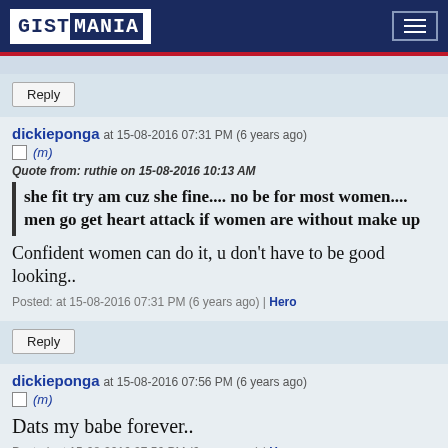GISTMANIA
Reply
dickieponga at 15-08-2016 07:31 PM (6 years ago)
(m)
Quote from: ruthie on 15-08-2016 10:13 AM
she fit try am cuz she fine.... no be for most women.... men go get heart attack if women are without make up
Confident women can do it, u don't have to be good looking..
Posted: at 15-08-2016 07:31 PM (6 years ago) | Hero
Reply
dickieponga at 15-08-2016 07:56 PM (6 years ago)
(m)
Dats my babe forever..
Posted: at 15-08-2016 07:56 PM (6 years ago) | Hero